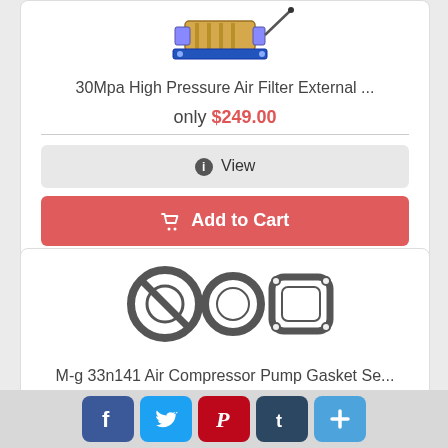[Figure (photo): Product image of 30Mpa High Pressure Air Filter (partially visible at top of card)]
30Mpa High Pressure Air Filter External ...
only $249.00
ⓘ View
🛒 Add to Cart
[Figure (photo): Product image showing M-g 33n141 Air Compressor Pump Gasket Set — three gasket rings (circular with slot, plain circular, square with rounded corners)]
M-g 33n141 Air Compressor Pump Gasket Se...
Facebook Twitter Pinterest Tumblr More